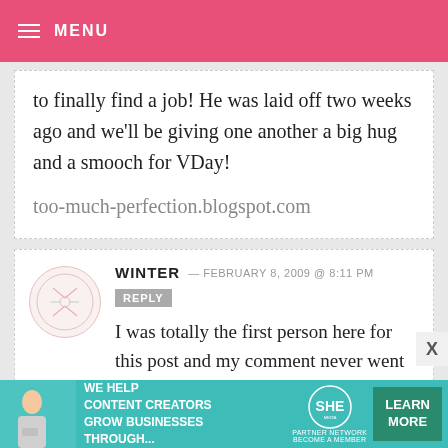MENU
to finally find a job! He was laid off two weeks ago and we'll be giving one another a big hug and a smooch for VDay!

too-much-perfection.blogspot.com
WINTER — FEBRUARY 8, 2009 @ 8:11 PM REPLY

I was totally the first person here for this post and my comment never went thru. =\ Unfair.
[Figure (other): Advertisement banner for SHE Partner Network: 'We help content creators grow businesses through...' with Learn More button]
X